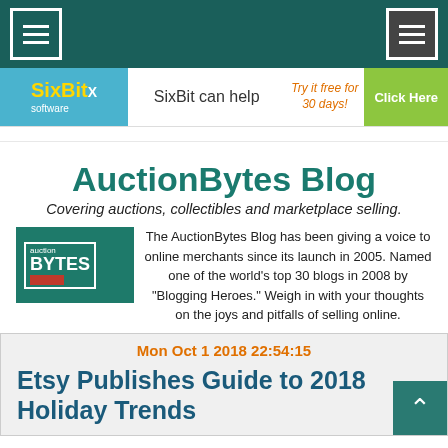Navigation bar with menu icons
[Figure (screenshot): SixBit software ad banner: 'SixBit can help Try it free for 30 days! Click Here']
AuctionBytes Blog
Covering auctions, collectibles and marketplace selling.
[Figure (logo): AuctionBytes logo - teal background with 'auction BYTES' text and red box]
The AuctionBytes Blog has been giving a voice to online merchants since its launch in 2005. Named one of the world's top 30 blogs in 2008 by "Blogging Heroes." Weigh in with your thoughts on the joys and pitfalls of selling online.
Mon Oct 1 2018 22:54:15
Etsy Publishes Guide to 2018 Holiday Trends